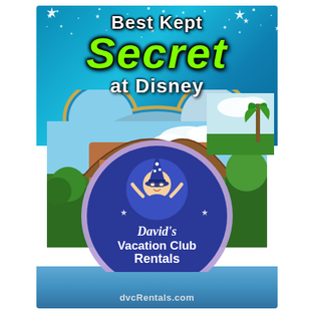[Figure (illustration): Book or DVD cover for 'Best Kept Secret at Disney' by David's Vacation Club Rentals. Features a teal starry background at top with bright green 'Secret' text and white 'Best Kept' and 'at Disney' headings. Below is a Mickey Mouse ear-shaped frame with photos of a Disney resort building and tropical scenery. A circular logo badge shows a cartoon character in a wizard hat and reads 'David's Vacation Club Rentals dvcRentals.com'. Bottom has a blue sky/water stripe.]